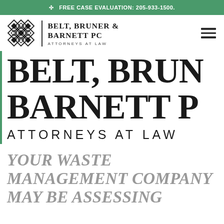FREE CASE EVALUATION: 205-933-1500.
[Figure (logo): Belt, Bruner & Barnett PC logo with diamond lattice geometric icon and firm name]
BELT, BRUN BARNETT P ATTORNEYS AT LAW
YOUR WASTE MANAGEMENT COMPANY MAY BE ASSESSING